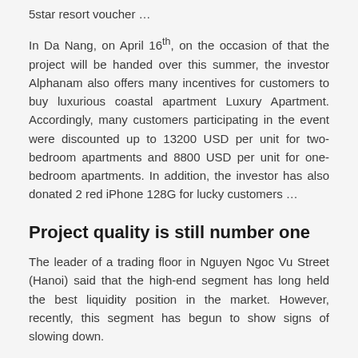5star resort voucher …
In Da Nang, on April 16th, on the occasion of that the project will be handed over this summer, the investor Alphanam also offers many incentives for customers to buy luxurious coastal apartment Luxury Apartment. Accordingly, many customers participating in the event were discounted up to 13200 USD per unit for two-bedroom apartments and 8800 USD per unit for one-bedroom apartments. In addition, the investor has also donated 2 red iPhone 128G for lucky customers …
Project quality is still number one
The leader of a trading floor in Nguyen Ngoc Vu Street (Hanoi) said that the high-end segment has long held the best liquidity position in the market. However, recently, this segment has begun to show signs of slowing down.
Therefore, to attract the attention of homebuyers, the owners massively launched the super preferential programs. In addition to